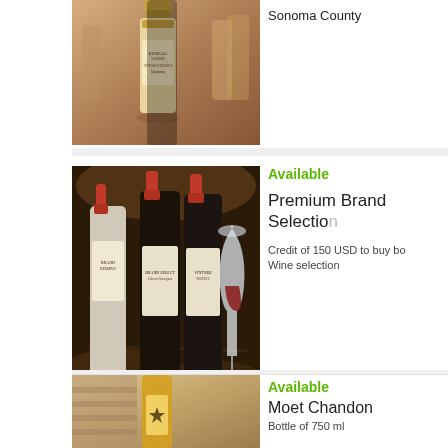[Figure (photo): Kendall-Jackson wine bottle on a wooden surface with blurred bottles in background]
Sonoma County
[Figure (photo): Three wine bottles with a wine glass in front of oak barrels - Premium Brand Selection]
Available
Premium Brand Selection
Credit of 150 USD to buy bottles from our Wine selection
[Figure (photo): Moet Chandon champagne bottle with gold details]
Available
Moet Chandon
Bottle of 750 ml